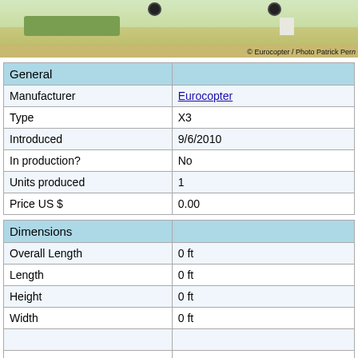[Figure (photo): Photograph of a Eurocopter X3 helicopter aircraft on or near a runway/airfield. Photo credit: © Eurocopter / Photo Patrick Perna]
| General |  |
| --- | --- |
| Manufacturer | Eurocopter |
| Type | X3 |
| Introduced | 9/6/2010 |
| In production? | No |
| Units produced | 1 |
| Price US $ | 0.00 |
| Dimensions |  |
| --- | --- |
| Overall Length | 0 ft |
| Length | 0 ft |
| Height | 0 ft |
| Width | 0 ft |
|  |  |
|  |  |
Description